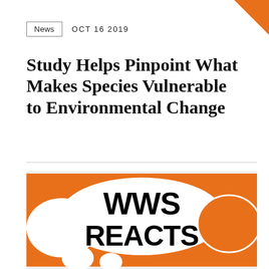News  OCT 16 2019
Study Helps Pinpoint What Makes Species Vulnerable to Environmental Change
[Figure (illustration): WWS Reacts logo/graphic with speech bubbles in orange and white colors on orange background with bold black text reading 'WWS REACTS']